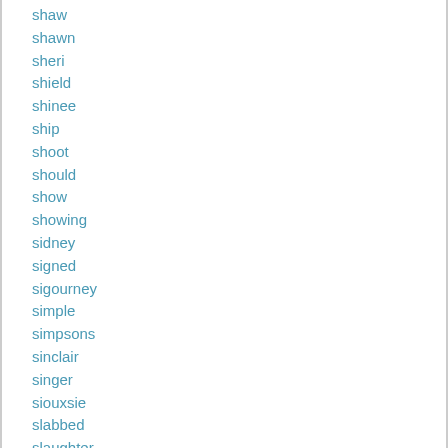shaw
shawn
sheri
shield
shinee
ship
shoot
should
show
showing
sidney
signed
sigourney
simple
simpsons
sinclair
singer
siouxsie
slabbed
slaughter
slipknot
smashing
smith
snead